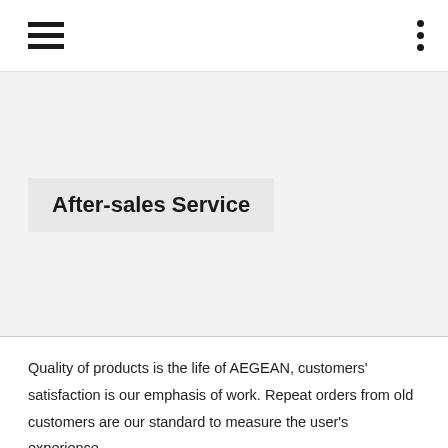After-sales Service
Quality of products is the life of AEGEAN, customers' satisfaction is our emphasis of work. Repeat orders from old customers are our standard to measure the user's experience.